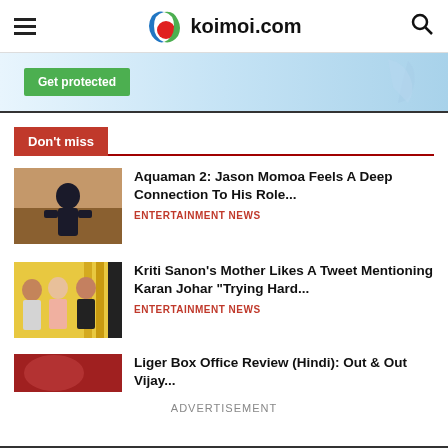koimoi.com
[Figure (screenshot): Advertisement banner with green 'Get protected' button on light blue background]
Don't miss
[Figure (photo): Aquaman 2 movie still showing Jason Momoa in black superhero suit]
Aquaman 2: Jason Momoa Feels A Deep Connection To His Role...
ENTERTAINMENT NEWS
[Figure (photo): Photo of Kriti Sanon, her mother, and Karan Johar]
Kriti Sanon's Mother Likes A Tweet Mentioning Karan Johar "Trying Hard...
ENTERTAINMENT NEWS
Liger Box Office Review (Hindi): Out & Out Vijay...
ADVERTISEMENT